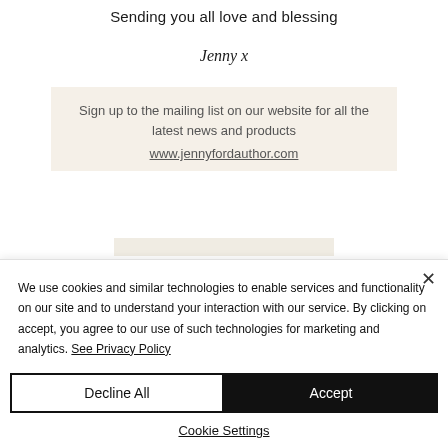Sending you all love and blessing
Jenny x
Sign up to the mailing list on our website for all the latest news and products
www.jennyfordauthor.com
We use cookies and similar technologies to enable services and functionality on our site and to understand your interaction with our service. By clicking on accept, you agree to our use of such technologies for marketing and analytics. See Privacy Policy
Decline All
Accept
Cookie Settings